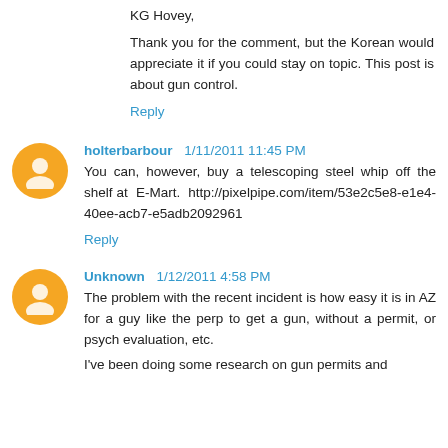KG Hovey,

Thank you for the comment, but the Korean would appreciate it if you could stay on topic. This post is about gun control.
Reply
holterbarbour 1/11/2011 11:45 PM
You can, however, buy a telescoping steel whip off the shelf at E-Mart. http://pixelpipe.com/item/53e2c5e8-e1e4-40ee-acb7-e5adb2092961
Reply
Unknown 1/12/2011 4:58 PM
The problem with the recent incident is how easy it is in AZ for a guy like the perp to get a gun, without a permit, or psych evaluation, etc.

I've been doing some research on gun permits and